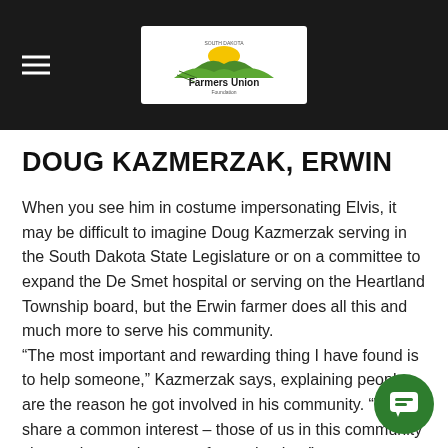[Figure (logo): South Dakota Farmers Union Foundation logo on dark header bar with hamburger menu icon]
DOUG KAZMERZAK, ERWIN
When you see him in costume impersonating Elvis, it may be difficult to imagine Doug Kazmerzak serving in the South Dakota State Legislature or on a committee to expand the De Smet hospital or serving on the Heartland Township board, but the Erwin farmer does all this and much more to serve his community.
“The most important and rewarding thing I have found is to help someone,” Kazmerzak says, explaining people are the reason he got involved in his community. “We share a common interest – those of us in this community share a love and concern for each other.”
Kazmerzak says he was inspired to get involved in community through politics when he attended Boys State community.